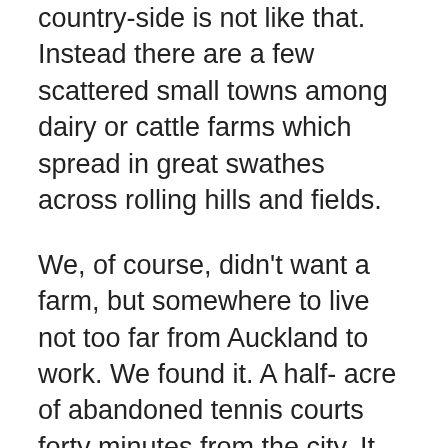country-side is not like that. Instead there are a few scattered small towns among dairy or cattle farms which spread in great swathes across rolling hills and fields.
We, of course, didn't want a farm, but somewhere to live not too far from Auckland to work. We found it. A half- acre of abandoned tennis courts forty minutes from the city. It lay in a valley mostly farmed by descendants of the original settlers, and who, we learned later, were well known in those parts for somewhat antique life styles and opinions which had not changed much since their ancestor's distant pioneering days.
In the beginning we were an exotic phenomenon. Half the farmers were Catholic, so Patrick was a familiar personality to them through the Catholic newspaper, and as such we were disapproved of … were we married or